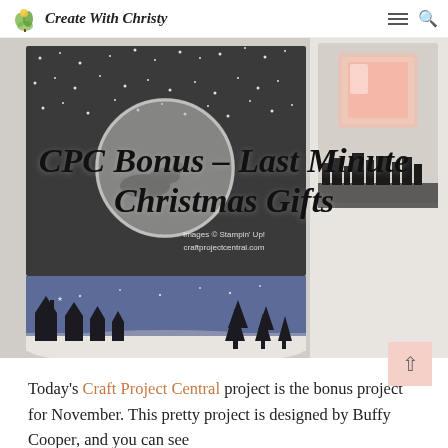Create With Christy
[Figure (photo): Hero image showing Christmas craft projects: a night-sky card with Santa silhouette and circular window cutout on the left, a glowing pink candle holder on the upper right, and a winter village scene with silhouetted houses and trees along the bottom. Overlaid title text reads 'CPC Bonus – Last Minute Christmas Gifts' with watermark text 'Images © Stampin' Up! craftprojectcentral.com']
CPC Bonus – Last Minute Christmas Gifts
Today's Craft Project Central project is the bonus project for November. This pretty project is designed by Buffy Cooper, and you can see